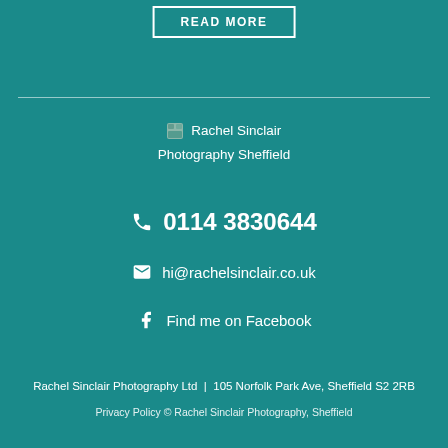READ MORE
[Figure (logo): Rachel Sinclair Photography Sheffield logo with small image icon]
📞 0114 3830644
✉ hi@rachelsinclair.co.uk
Find me on Facebook
Rachel Sinclair Photography Ltd  |  105 Norfolk Park Ave, Sheffield S2 2RB
Privacy Policy © Rachel Sinclair Photography, Sheffield